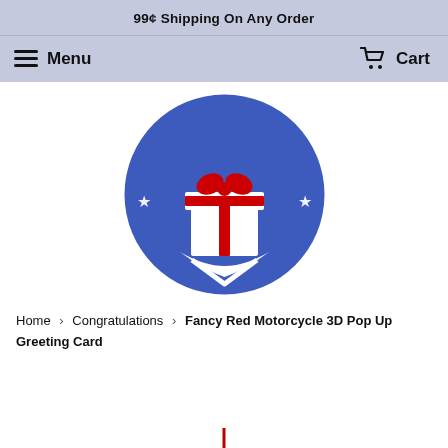99¢ Shipping On Any Order
Menu   Cart
[Figure (logo): iGifts And Cards logo: blue circle with white gift box and red bow, stars on sides, curved text 'iGifts And Cards' around top]
Home › Congratulations › Fancy Red Motorcycle 3D Pop Up Greeting Card